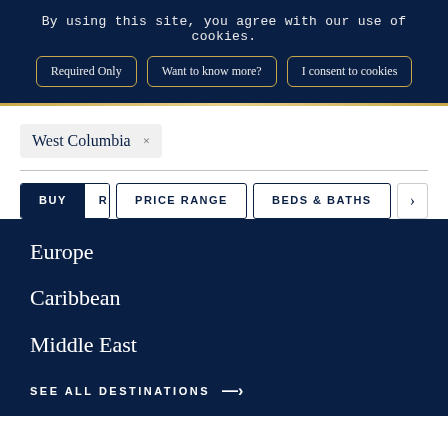By using this site, you agree with our use of cookies.
Required Only
Want to know more?
I consent to cookies
West Columbia ×
BUY
RENT
PRICE RANGE
BEDS & BATHS
Europe
Caribbean
Middle East
SEE ALL DESTINATIONS →